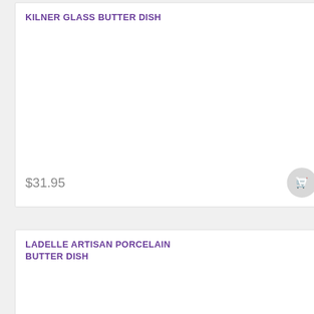KILNER GLASS BUTTER DISH
$31.95
LADELLE ARTISAN PORCELAIN BUTTER DISH
$31.95